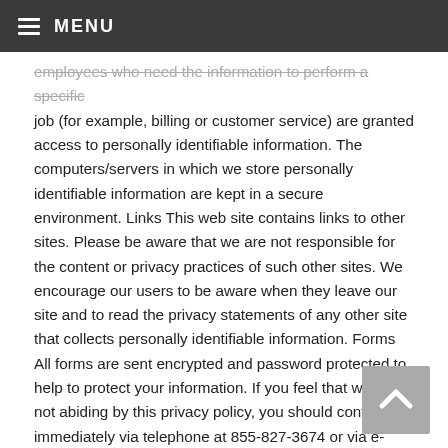MENU
employees who need the information to perform a specific job (for example, billing or customer service) are granted access to personally identifiable information. The computers/servers in which we store personally identifiable information are kept in a secure environment. Links This web site contains links to other sites. Please be aware that we are not responsible for the content or privacy practices of such other sites. We encourage our users to be aware when they leave our site and to read the privacy statements of any other site that collects personally identifiable information. Forms All forms are sent encrypted and password protected to help to protect your information. If you feel that we are not abiding by this privacy policy, you should contact us immediately via telephone at 855-827-3674 or via e-mail.